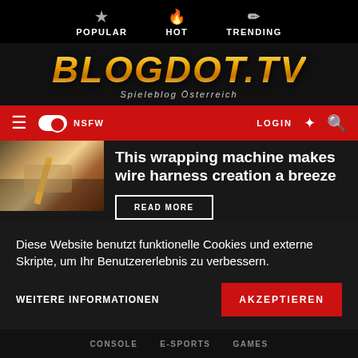POPULAR  HOT  TRENDING
BLOGDOT.TV — Spieleblog Österreich
≡  NSFW  LOGIN
This wrapping machine makes wire harness creation a breeze
READ MORE
LINUX  NEWS  TECHNOLOGY
Diese Website benutzt funktionelle Cookies und externe Skripte, um Ihr Benutzererlebnis zu verbessern.
WEITERE INFORMATIONEN
AKZEPTIEREN
CONSOLE  E-SPORTS  GAMES